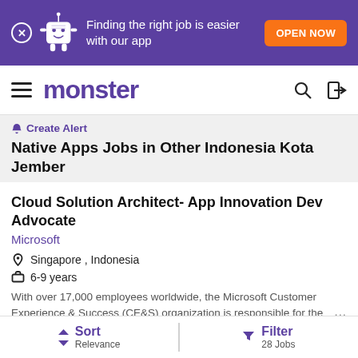[Figure (screenshot): Purple promotional banner with mascot character, text 'Finding the right job is easier with our app', and orange 'OPEN NOW' button]
monster
🔔 Create Alert
Native Apps Jobs in Other Indonesia Kota Jember
Cloud Solution Architect- App Innovation Dev Advocate
Microsoft
Singapore , Indonesia
6-9 years
With over 17,000 employees worldwide, the Microsoft Customer Experience & Success (CE&S) organization is responsible for the ...
Sort Relevance | Filter 28 Jobs